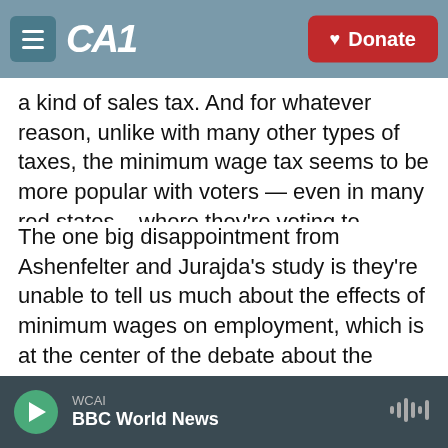CAI | Donate
a kind of sales tax. And for whatever reason, unlike with many other types of taxes, the minimum wage tax seems to be more popular with voters — even in many red states, , where they're voting to increase the minimum wage.
The one big disappointment from Ashenfelter and Jurajda's study is they're unable to tell us much about the effects of minimum wages on employment, which is at the center of the debate about the policy. They couldn't obtain data on hiring and firing from McDonald's restaurants around the nation.
WCAI
BBC World News